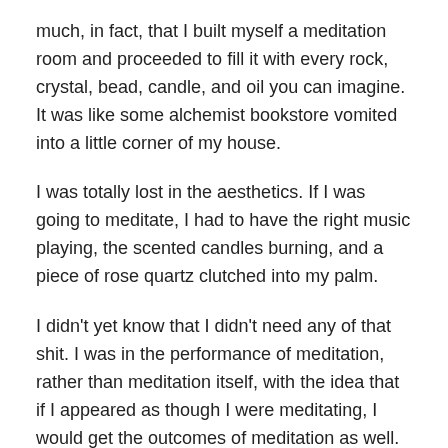much, in fact, that I built myself a meditation room and proceeded to fill it with every rock, crystal, bead, candle, and oil you can imagine. It was like some alchemist bookstore vomited into a little corner of my house.
I was totally lost in the aesthetics. If I was going to meditate, I had to have the right music playing, the scented candles burning, and a piece of rose quartz clutched into my palm.
I didn't yet know that I didn't need any of that shit. I was in the performance of meditation, rather than meditation itself, with the idea that if I appeared as though I were meditating, I would get the outcomes of meditation as well. But it doesn't work that way.
But I was committed to my setup—even hanging a sign outside my door, decorated with a lotus flower, that read: Do